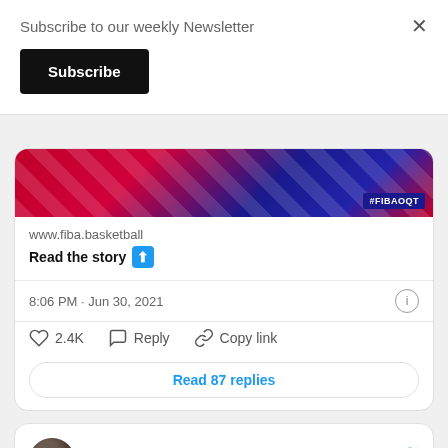Subscribe to our weekly Newsletter
Subscribe
[Figure (screenshot): FIBA basketball promotional banner with red and blue geometric pattern and #FIBAOQT hashtag]
www.fiba.basketball
Read the story ⬆
8:06 PM · Jun 30, 2021
2.4K   Reply   Copy link
Read 87 replies
Mikee @_mikeereyes · Follow
Lakompake, sulit puyat sainyo.
Nakakaproud kayo!